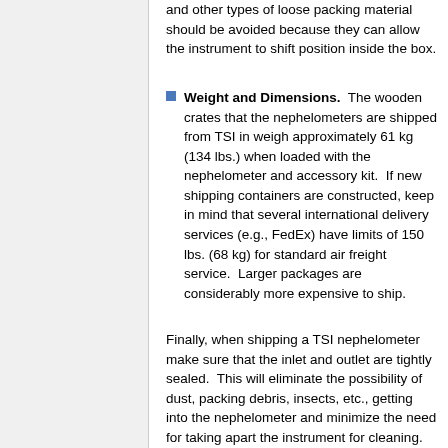and other types of loose packing material should be avoided because they can allow the instrument to shift position inside the box.
Weight and Dimensions. The wooden crates that the nephelometers are shipped from TSI in weigh approximately 61 kg (134 lbs.) when loaded with the nephelometer and accessory kit. If new shipping containers are constructed, keep in mind that several international delivery services (e.g., FedEx) have limits of 150 lbs. (68 kg) for standard air freight service. Larger packages are considerably more expensive to ship.
Finally, when shipping a TSI nephelometer make sure that the inlet and outlet are tightly sealed. This will eliminate the possibility of dust, packing debris, insects, etc., getting into the nephelometer and minimize the need for taking apart the instrument for cleaning. Also, it